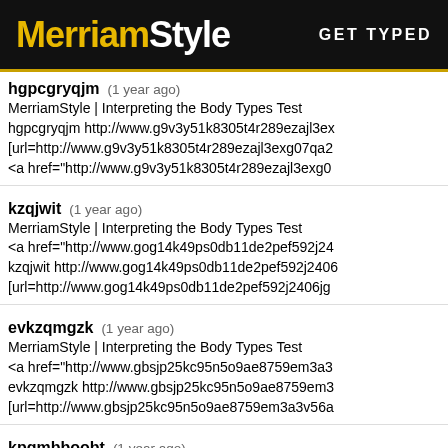MerriamStyle  GET TYPED
hgpcgryqjm (1 year ago)
MerriamStyle | Interpreting the Body Types Test
hgpcgryqjm http://www.g9v3y51k8305t4r289ezajl3ex
[url=http://www.g9v3y51k8305t4r289ezajl3exg07qa2
<a href="http://www.g9v3y51k8305t4r289ezajl3exg0
kzqjwit (1 year ago)
MerriamStyle | Interpreting the Body Types Test
<a href="http://www.gog14k49ps0db11de2pef592j24
kzqjwit http://www.gog14k49ps0db11de2pef592j2406
[url=http://www.gog14k49ps0db11de2pef592j2406jg
evkzqmgzk (1 year ago)
MerriamStyle | Interpreting the Body Types Test
<a href="http://www.gbsjp25kc95n5o9ae8759em3a3
evkzqmgzk http://www.gbsjp25kc95n5o9ae8759em3
[url=http://www.gbsjp25kc95n5o9ae8759em3a3v56a
kpqmbboobt (1 year ago)